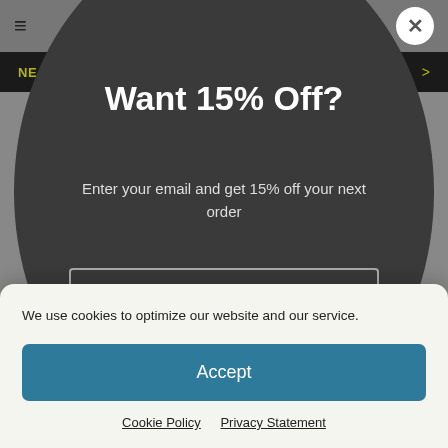Want 15% Off?
Enter your email and get 15% off your next order
Email
Get Your Code
We use cookies to optimize our website and our service.
Accept
Cookie Policy   Privacy Statement